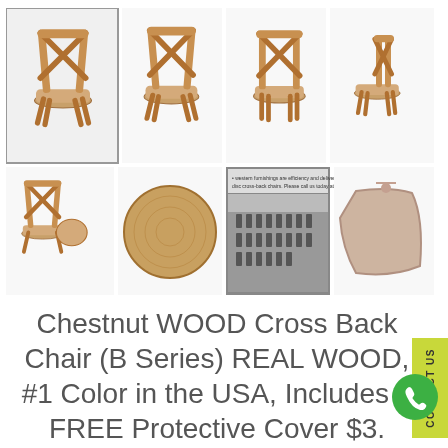[Figure (photo): Product listing page showing multiple views of a Chestnut Wood Cross Back Chair (B Series) including front view, back view, side views, round tabletop, warehouse image, and a cushion.]
Chestnut WOOD Cross Back Chair (B Series) REAL WOOD, #1 Color in the USA, Includes a FREE Protective Cover $3. Value